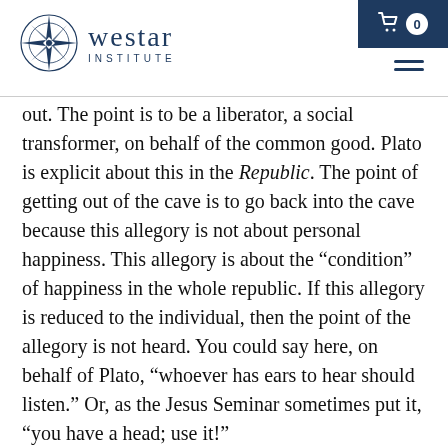[Figure (logo): Westar Institute logo with compass rose icon and text 'westar INSTITUTE' in navy blue]
out. The point is to be a liberator, a social transformer, on behalf of the common good. Plato is explicit about this in the Republic. The point of getting out of the cave is to go back into the cave because this allegory is not about personal happiness. This allegory is about the “condition” of happiness in the whole republic. If this allegory is reduced to the individual, then the point of the allegory is not heard. You could say here, on behalf of Plato, “whoever has ears to hear should listen.” Or, as the Jesus Seminar sometimes put it, “you have a head; use it!”